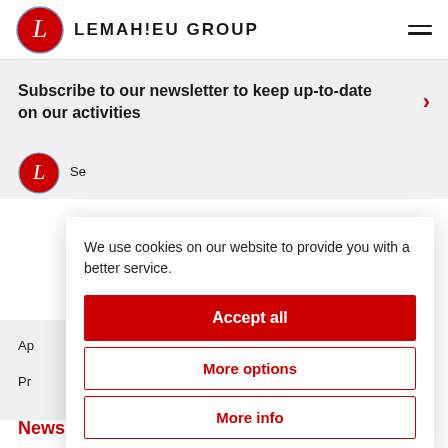[Figure (logo): Lemahieu Group logo: red circular badge with stylized L, next to bold text LEMAHIEU GROUP]
Subscribe to our newsletter to keep up-to-date on our activities
We use cookies on our website to provide you with a better service.
Accept all
More options
More info
Se
Ap
Pr
News